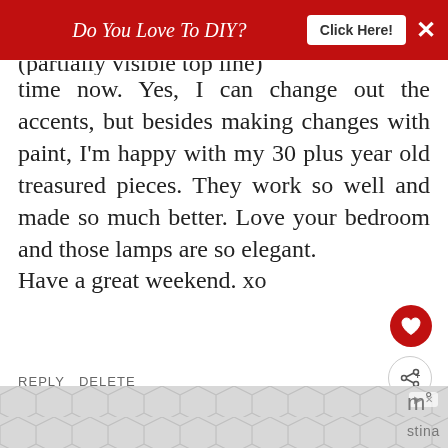Do You Love To DIY? Click Here!
time now. Yes, I can change out the accents, but besides making changes with paint, I'm happy with my 30 plus year old treasured pieces. They work so well and made so much better. Love your bedroom and those lamps are so elegant.
Have a great weekend. xo
REPLY DELETE
REPLIES
WHAT'S NEXT → How To Repair A Torn Chair...
Kim
MARCH 30, 2017 AT 6:16...